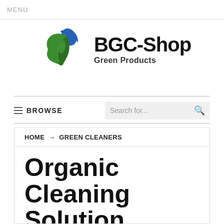MENU
[Figure (logo): BGC-Shop Green Products logo with swirling blue and green leaves icon and bold BGC-Shop text with Green Products subtitle]
BROWSE | Search for...
HOME → GREEN CLEANERS
Organic Cleaning Solution Evaluations